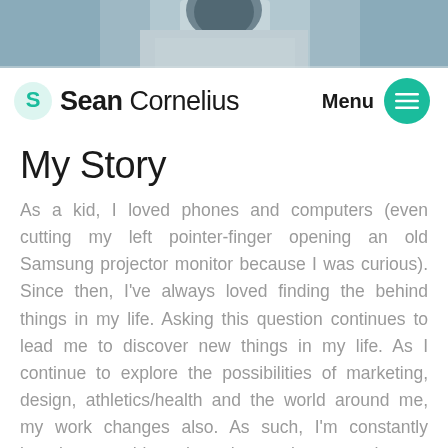[Figure (photo): Partial photo of a person wearing a dark jacket, cropped at the top of the page]
Sean Cornelius — Menu navigation bar with logo and hamburger menu button
My Story
As a kid, I loved phones and computers (even cutting my left pointer-finger opening an old Samsung projector monitor because I was curious). Since then, I've always loved finding the behind things in my life. Asking this question continues to lead me to discover new things in my life. As I continue to explore the possibilities of marketing, design, athletics/health and the world around me, my work changes also. As such, I'm constantly learning new things through experiences on how to develop myself as a person and as a